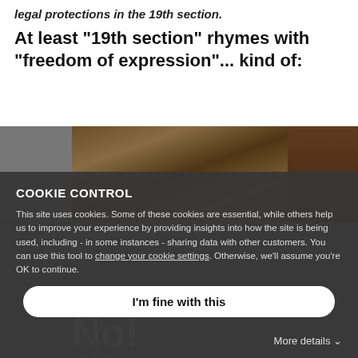legal protections in the 19th section.
At least "19th section" rhymes with "freedom of expression"... kind of:
[Figure (photo): A partially visible photo showing a wooden railing or shelf in the upper portion, and below a protest or display image with 'No!' text and 'we've put in legal' caption. The image is mostly obscured by the cookie control overlay.]
COOKIE CONTROL
This site uses cookies. Some of these cookies are essential, while others help us to improve your experience by providing insights into how the site is being used, including - in some instances - sharing data with other customers. You can use this tool to change your cookie settings. Otherwise, we'll assume you're OK to continue.
I'm fine with this
More details